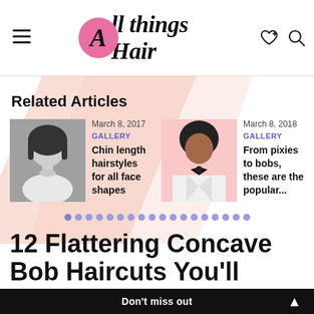All things Hair
Related Articles
[Figure (photo): Photo of a woman with chin-length bob hairstyle]
March 8, 2017
GALLERY
Chin length hairstyles for all face shapes
[Figure (photo): Photo of a woman in white jacket and black bow at pink background]
March 8, 2018
GALLERY
From pixies to bobs, these are the popular...
12 Flattering Concave Bob Haircuts You'll Love
Don't miss out